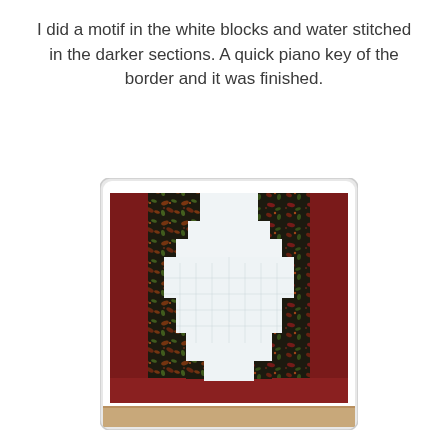I did a motif in the white blocks and water stitched in the darker sections. A quick piano key of the border and it was finished.
[Figure (photo): A quilt laid flat on a wooden surface, photographed from above. The quilt features a large white/light blue center area in a stepped diamond or log-cabin-style pattern, surrounded by dark floral/botanical patterned fabric blocks in black, red, and green tones. The border is a deep burgundy/maroon solid fabric. The quilt has visible quilting stitches in the white sections.]